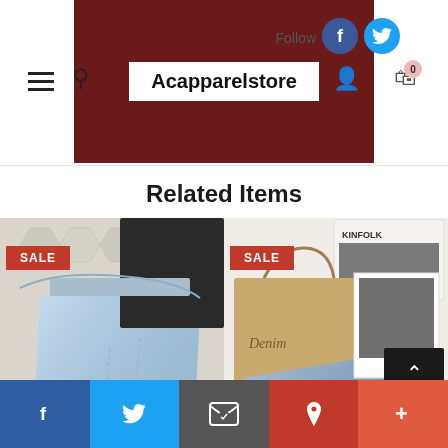Acapparelstore — header with navigation, logo, follow icons, user and cart
Related Items
[Figure (photo): Person lying on hexagonal tile floor wearing light blue denim jeans and white sneakers, with SALE badge]
[Figure (photo): Denim jeans laid on white fabric next to a Kinfolk book and shopping bag labeled Denim, with SALE badge]
Social share bar: Facebook, Twitter, Email, Pinterest, More